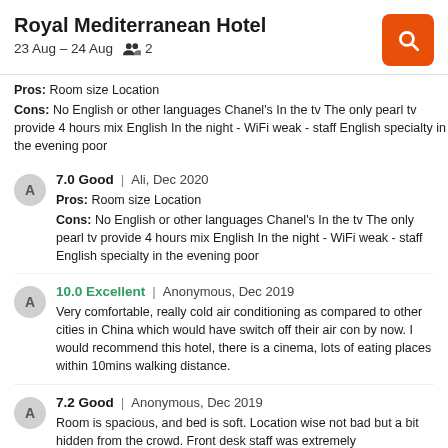Royal Mediterranean Hotel | 23 Aug – 24 Aug | 2 guests
Pros: Room size Location
Cons: No English or other languages Chanel's In the tv The only pearl tv provide 4 hours mix English In the night - WiFi weak - staff English specialty in the evening poor
7.0 Good | Ali, Dec 2020
Pros: Room size Location
Cons: No English or other languages Chanel's In the tv The only pearl tv provide 4 hours mix English In the night - WiFi weak - staff English specialty in the evening poor
10.0 Excellent | Anonymous, Dec 2019
Very comfortable, really cold air conditioning as compared to other cities in China which would have switch off their air con by now. I would recommend this hotel, there is a cinema, lots of eating places within 10mins walking distance.
7.2 Good | Anonymous, Dec 2019
Room is spacious, and bed is soft. Location wise not bad but a bit hidden from the crowd. Front desk staff was extremely